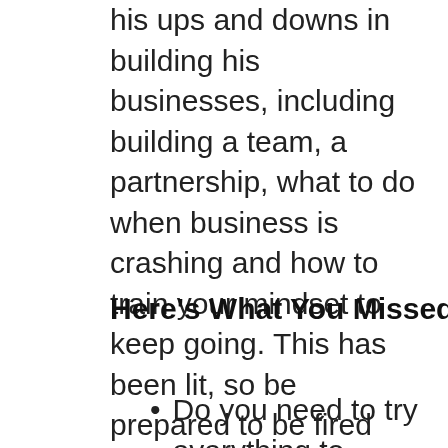his ups and downs in building his businesses, including building a team, a partnership, what to do when business is crashing and how to train your mindset to keep going. This has been lit, so be prepared to be fired up!
Here's What You Missed
Do you need to try everything to learn?